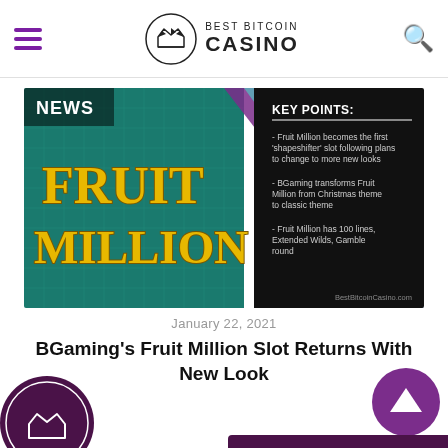BEST BITCOIN CASINO
[Figure (screenshot): Fruit Million slot game article image with NEWS label, gold Fruit Million logo on teal grid background, and KEY POINTS panel listing: Fruit Million becomes the first shapeshifter slot following plans to change to more new looks; BGaming transforms Fruit Million from Christmas theme to classic theme; Fruit Million has 100 lines, Extended Wilds, Gamble round. BestBitcoinCasino.com watermark.]
January 22, 2021
BGaming's Fruit Million Slot Returns With New Look